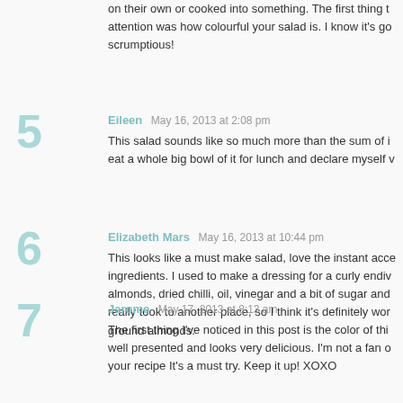on their own or cooked into something. The first thing that caught my attention was how colourful your salad is. I know it's go scrumptious!
Eileen  May 16, 2013 at 2:08 pm
This salad sounds like so much more than the sum of it eat a whole big bowl of it for lunch and declare myself v
Elizabeth Mars  May 16, 2013 at 10:44 pm
This looks like a must make salad, love the instant acce ingredients. I used to make a dressing for a curly endiv almonds, dried chilli, oil, vinegar and a bit of sugar and really took to another place, so I think it's definitely wor ground almonds.
Jarome  May 17, 2013 at 8:13 am
The first thing I've noticed in this post is the color of thi well presented and looks very delicious. I'm not a fan o your recipe It's a must try. Keep it up! XOXO